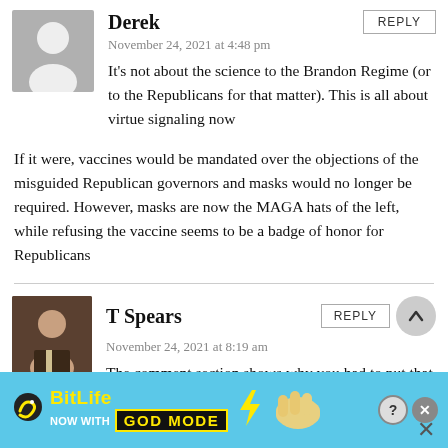Derek
November 24, 2021 at 4:48 pm
It's not about the science to the Brandon Regime (or to the Republicans for that matter). This is all about virtue signaling now
If it were, vaccines would be mandated over the objections of the misguided Republican governors and masks would no longer be required. However, masks are now the MAGA hats of the left, while refusing the vaccine seems to be a badge of honor for Republicans
T Spears
November 24, 2021 at 8:19 am
The comment section shows why you had to put that
[Figure (other): BitLife advertisement banner with 'NOW WITH GOD MODE' text]